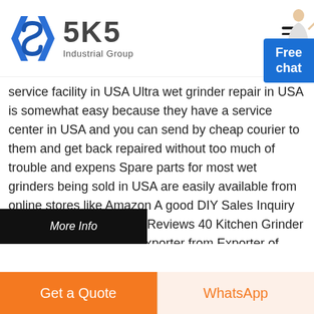[Figure (logo): SKS Industrial Group logo with blue angular bracket icon and company name]
service facility in USA Ultra wet grinder repair in USA is somewhat easy because they have a service center in USA and you can send by cheap courier to them and get back repaired without too much of trouble and expens Spare parts for most wet grinders being sold in USA are easily available from online stores like Amazon A good DIY Sales Inquiry Best Wetgrider For 2 Kg Reviews 40 Kitchen Grinder Table Top Wet Grinder Exporter from Exporter of Kitchen Grinder Table Top Wet Grinder
[Figure (other): More Info dark banner button at bottom of page content]
[Figure (other): Free chat button with customer service person illustration]
Get a Quote
WhatsApp